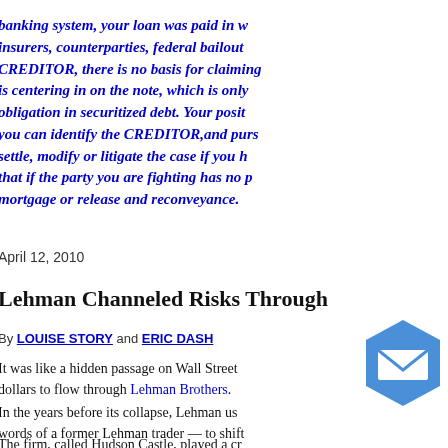banking system, your loan was paid in w insurers, counterparties, federal bailout CREDITOR, there is no basis for claiming is centering in on the note, which is only obligation in securitized debt. Your posit you can identify the CREDITOR,and purs settle, modify or litigate the case if you h that if the party you are fighting has no p mortgage or release and reconveyance.
April 12, 2010
Lehman Channeled Risks Through
By LOUISE STORY and ERIC DASH
It was like a hidden passage on Wall Street dollars to flow through Lehman Brothers.
In the years before its collapse, Lehman us words of a former Lehman trader — to shift
The firm, called Hudson Castle, played a cr according to an internal Lehman document relationship raises new questions about the financial condition before it to ba
While Hudson Castle appea an ind with Lehman. For years, its board was cont